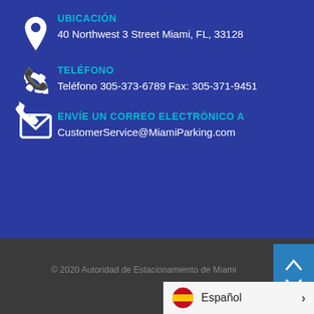UBICACIÓN
40 Northwest 3 Street Miami, FL, 33128
TELÉFONO
Teléfono 305-373-6789 Fax: 305-371-9451
ENVÍE UN CORREO ELECTRÓNICO A
CustomerService@MiamiParking.com
© 2020 Autoridad de Estacionamiento de Miami
Español